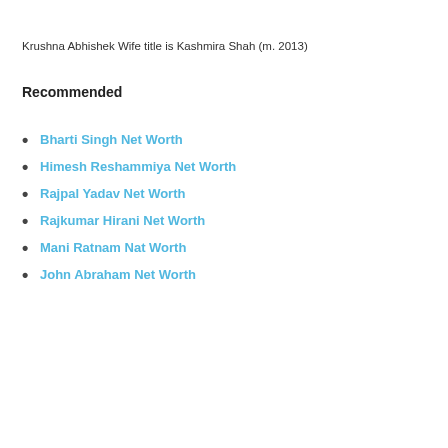Krushna Abhishek Wife title is Kashmira Shah (m. 2013)
Recommended
Bharti Singh Net Worth
Himesh Reshammiya Net Worth
Rajpal Yadav Net Worth
Rajkumar Hirani Net Worth
Mani Ratnam Nat Worth
John Abraham Net Worth